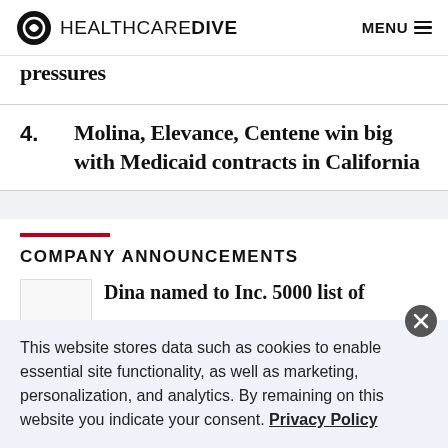HEALTHCAREDIVE  MENU
pressures
4. Molina, Elevance, Centene win big with Medicaid contracts in California
COMPANY ANNOUNCEMENTS
Dina named to Inc. 5000 list of
This website stores data such as cookies to enable essential site functionality, as well as marketing, personalization, and analytics. By remaining on this website you indicate your consent. Privacy Policy